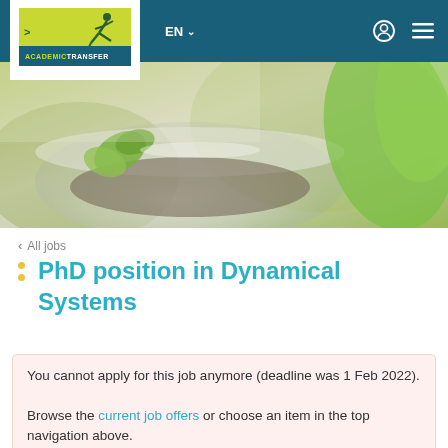EN  [user icon] [menu icon]
[Figure (photo): Hero banner photo showing a glass bowl terrarium with small plants and soil, against a blurred background with green foliage]
< All jobs
PhD position in Dynamical Systems
You cannot apply for this job anymore (deadline was 1 Feb 2022).

Browse the current job offers or choose an item in the top navigation above.